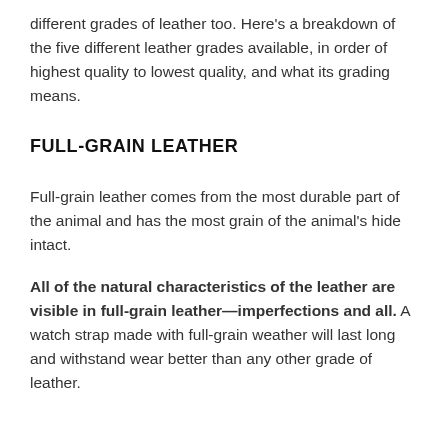different grades of leather too. Here's a breakdown of the five different leather grades available, in order of highest quality to lowest quality, and what its grading means.
FULL-GRAIN LEATHER
Full-grain leather comes from the most durable part of the animal and has the most grain of the animal's hide intact.
All of the natural characteristics of the leather are visible in full-grain leather—imperfections and all. A watch strap made with full-grain weather will last long and withstand wear better than any other grade of leather.